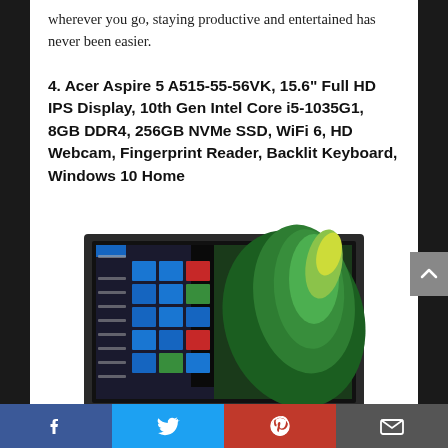wherever you go, staying productive and entertained has never been easier.
4. Acer Aspire 5 A515-55-56VK, 15.6" Full HD IPS Display, 10th Gen Intel Core i5-1035G1, 8GB DDR4, 256GB NVMe SSD, WiFi 6, HD Webcam, Fingerprint Reader, Backlit Keyboard, Windows 10 Home
[Figure (photo): Acer Aspire 5 laptop showing Windows 10 Start menu and green splash wallpaper]
Facebook | Twitter | Pinterest | Email